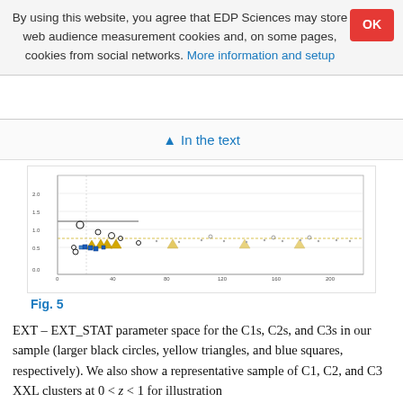By using this website, you agree that EDP Sciences may store web audience measurement cookies and, on some pages, cookies from social networks. More information and setup
↑ In the text
[Figure (scatter-plot): EXT - EXT_STAT parameter space scatter plot showing C1s (large black circles), C2s (yellow triangles), and C3s (blue squares), along with a representative sample of C1, C2, and C3 XXL clusters at 0 < z < 1]
Fig. 5
EXT – EXT_STAT parameter space for the C1s, C2s, and C3s in our sample (larger black circles, yellow triangles, and blue squares, respectively). We also show a representative sample of C1, C2, and C3 XXL clusters at 0 < z < 1 for illustration